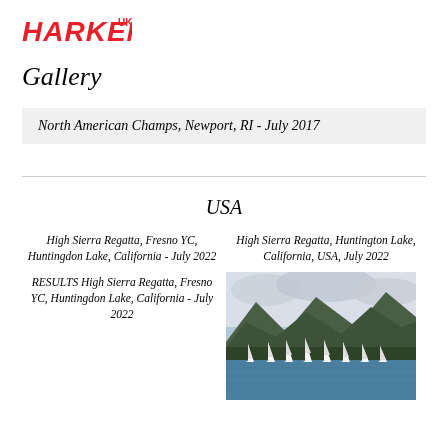[Figure (logo): HARKEN UK logo in red bold text with UK superscript]
Gallery
North American Champs, Newport, RI - July 2017
USA
High Sierra Regatta, Fresno YC, Huntingdon Lake, California - July 2022
High Sierra Regatta, Huntington Lake, California, USA, July 2022
RESULTS High Sierra Regatta, Fresno YC, Huntingdon Lake, California - July 2022
[Figure (photo): Sailing regatta photo on a lake with mountains and cloudy sky in background, multiple white sailboats with sails up on blue-green water]